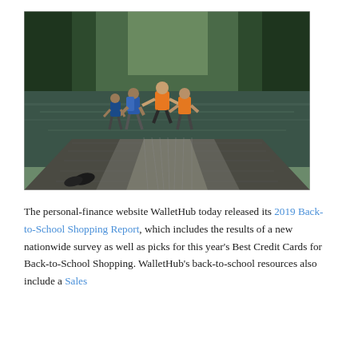[Figure (photo): Children wearing life jackets jumping off a wooden dock into a calm lake surrounded by forest trees]
The personal-finance website WalletHub today released its 2019 Back-to-School Shopping Report, which includes the results of a new nationwide survey as well as picks for this year's Best Credit Cards for Back-to-School Shopping. WalletHub's back-to-school resources also include a Sales...